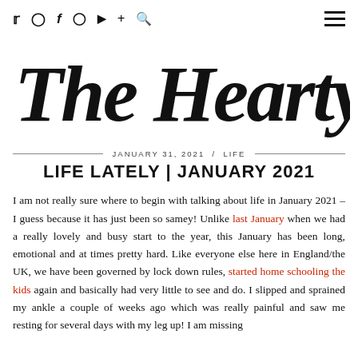Twitter Instagram Facebook Pinterest YouTube + Search | Menu
The Hearty Life
JANUARY 31, 2021 / LIFE
LIFE LATELY | JANUARY 2021
I am not really sure where to begin with talking about life in January 2021 – I guess because it has just been so samey! Unlike last January when we had a really lovely and busy start to the year, this January has been long, emotional and at times pretty hard. Like everyone else here in England/the UK, we have been governed by lock down rules, started home schooling the kids again and basically had very little to see and do. I slipped and sprained my ankle a couple of weeks ago which was really painful and saw me resting for several days with my leg up! I am missing